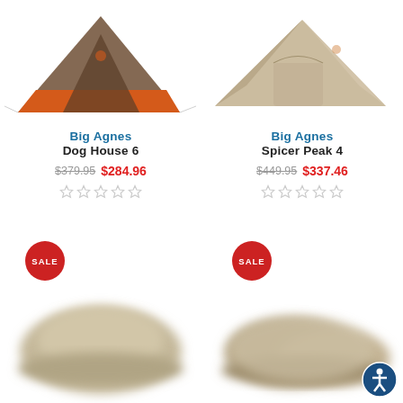[Figure (photo): Big Agnes Dog House 6 tent - orange and brown/grey tent from front view, top portion visible]
[Figure (photo): Big Agnes Spicer Peak 4 tent - tan/beige tent from front/side view, top portion visible]
Big Agnes
Dog House 6
$379.95  $284.96
Big Agnes
Spicer Peak 4
$449.95  $337.46
[Figure (photo): Blurry tan/beige tent product image with SALE badge]
[Figure (photo): Blurry tan/beige tent product image with SALE badge]